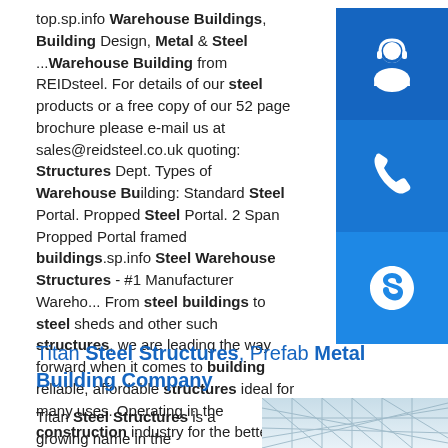top.sp.info Warehouse Buildings, Building Design, Metal & Steel ...Warehouse Building from REIDsteel. For details of our steel products or a free copy of our 52 page brochure please e-mail us at sales@reidsteel.co.uk quoting: Structures Dept. Types of Warehouse Buildings Standard Steel Portal. Propped Steel Portal. 2 Span Propped Portal framed buildings.sp.info Steel Warehouse Structures - #1 Manufacturer Warehouse From steel buildings to steel sheds and other such structures, we are leading the way forward when it comes to building reliable, affordable structures ideal for many uses. Operating in the construction industry for the better part of 20 years, our reputation speaks as much volume as the reliability of our structures.
[Figure (infographic): Three blue sidebar buttons: headset/support icon, phone icon, and Skype icon]
Titan Steel Structures, Prefab Metal Building Company
Titan Steel Structures is a growing name in the
[Figure (photo): Steel structure building framework photo showing metallic grid/truss structure]